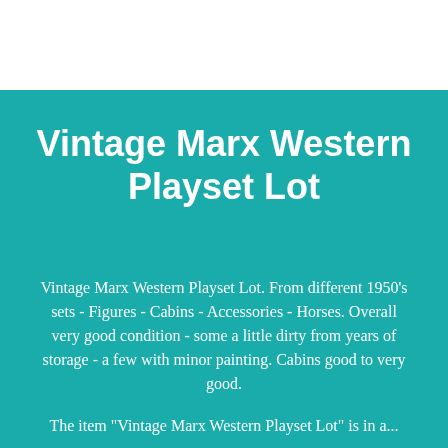Vintage Marx Western Playset Lot
Vintage Marx Western Playset Lot. From different 1950's sets - Figures - Cabins - Accessories - Horses. Overall very good condition - some a little dirty from years of storage - a few with minor painting. Cabins good to very good.
The item "Vintage Marx Western Playset Lot" is in a...